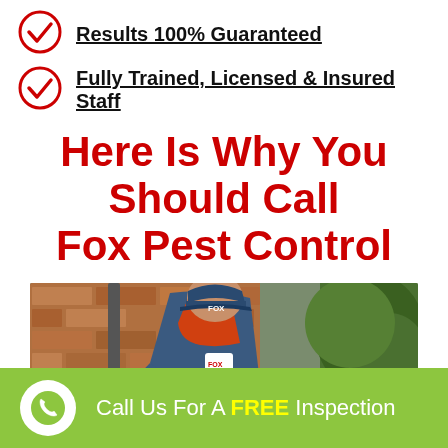Results 100% Guaranteed
Fully Trained, Licensed & Insured Staff
Here Is Why You Should Call Fox Pest Control
[Figure (photo): Fox Pest Control technician in blue uniform and cap inspecting a brick wall foundation close-up]
Call Us For A FREE Inspection